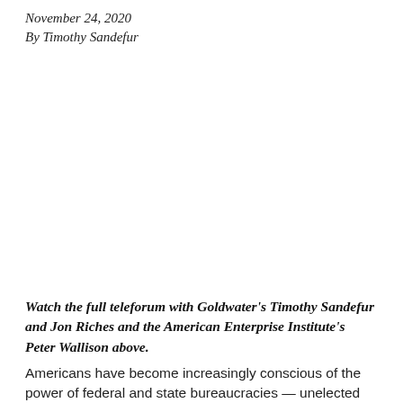November 24, 2020
By Timothy Sandefur
Watch the full teleforum with Goldwater's Timothy Sandefur and Jon Riches and the American Enterprise Institute's Peter Wallison above.
Americans have become increasingly conscious of the power of federal and state bureaucracies — unelected